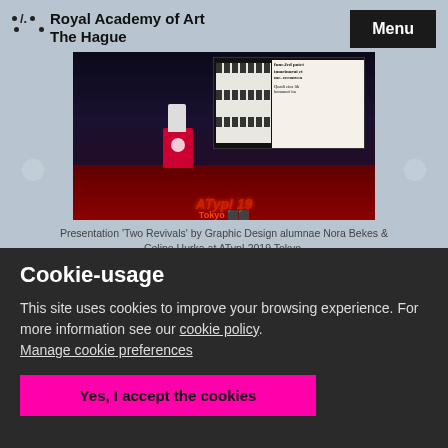Royal Academy of Art
The Hague
[Figure (photo): Presentation on stage at ATypI 2019 Tokyo conference, speaker at red podium with typography slides on large screen behind]
Presentation 'Two Revivals' by Graphic Design alumnae Nora Bekes & Celine Hurka at ATypI 2019 Tokyo.
Cookie-usage
This site uses cookies to improve your browsing experience. For more information see our cookie policy. Manage cookie preferences
Yes, I accept the cookies